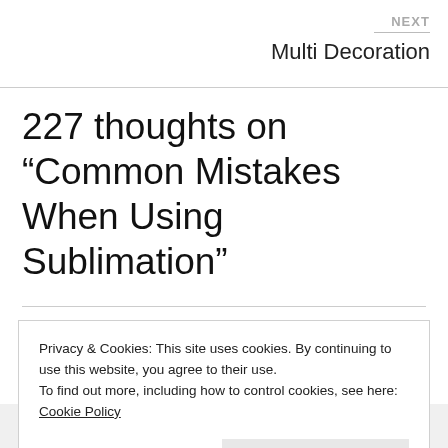NEXT
Multi Decoration
227 thoughts on “Common Mistakes When Using Sublimation”
Privacy & Cookies: This site uses cookies. By continuing to use this website, you agree to their use.
To find out more, including how to control cookies, see here: Cookie Policy
Close and accept
helpful, I was printing on